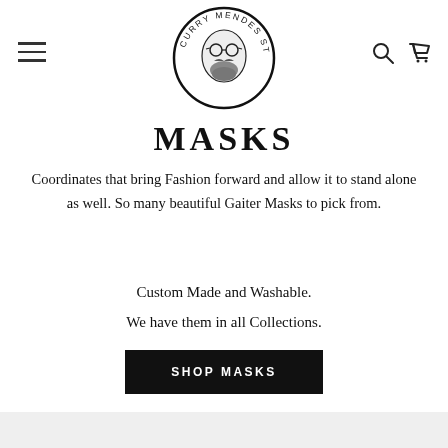[Figure (logo): Curry Mendes Store circular logo with illustrated man wearing glasses and a beard, with text 'CURRY MENDES STORE' around the circle]
MASKS
Coordinates that bring Fashion forward and allow it to stand alone as well. So many beautiful Gaiter Masks to pick from.
Custom Made and Washable.
We have them in all Collections.
SHOP MASKS